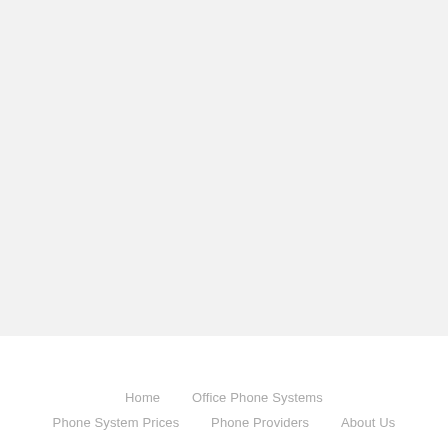Home   Office Phone Systems   Phone System Prices   Phone Providers   About Us